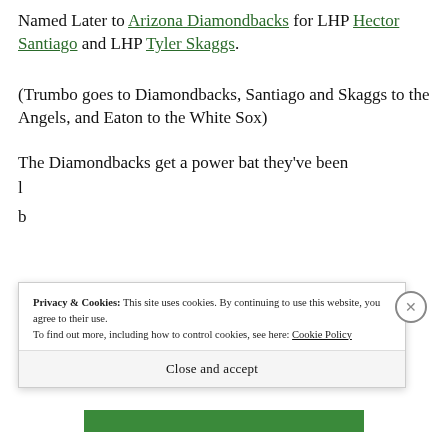Named Later to Arizona Diamondbacks for LHP Hector Santiago and LHP Tyler Skaggs.
(Trumbo goes to Diamondbacks, Santiago and Skaggs to the Angels, and Eaton to the White Sox)
The Diamondbacks get a power bat they've been l... b...
Privacy & Cookies: This site uses cookies. By continuing to use this website, you agree to their use. To find out more, including how to control cookies, see here: Cookie Policy
Close and accept